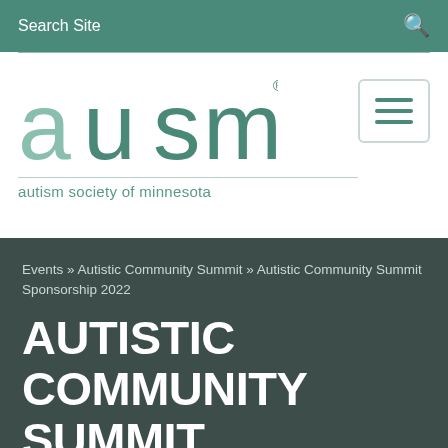Search Site
[Figure (logo): AUSM - autism society of minnesota logo with hamburger menu icon]
Events » Autistic Community Summit » Autistic Community Summit Sponsorship 2022
AUTISTIC COMMUNITY SUMMIT SPONSORSHIP 2022